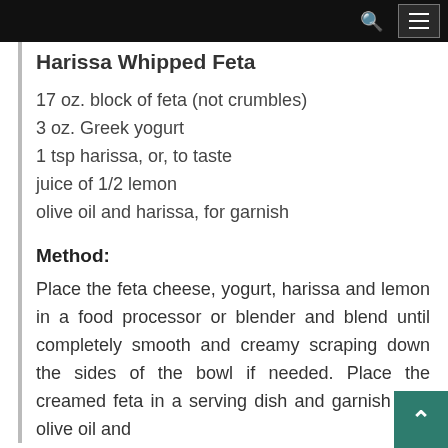Harissa Whipped Feta
17 oz. block of feta (not crumbles)
3 oz. Greek yogurt
1 tsp harissa, or, to taste
juice of 1/2 lemon
olive oil and harissa, for garnish
Method:
Place the feta cheese, yogurt, harissa and lemon in a food processor or blender and blend until completely smooth and creamy scraping down the sides of the bowl if needed. Place the creamed feta in a serving dish and garnish with olive oil and